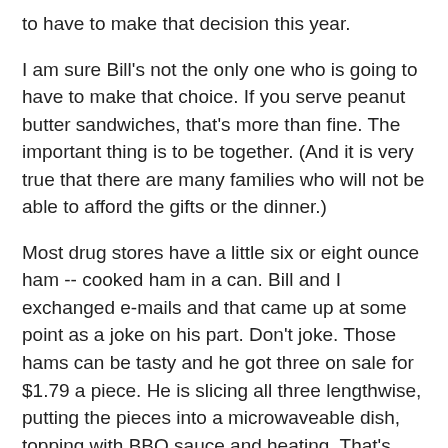to have to make that decision this year.
I am sure Bill's not the only one who is going to have to make that choice. If you serve peanut butter sandwiches, that's more than fine. The important thing is to be together. (And it is very true that there are many families who will not be able to afford the gifts or the dinner.)
Most drug stores have a little six or eight ounce ham -- cooked ham in a can. Bill and I exchanged e-mails and that came up at some point as a joke on his part. Don't joke. Those hams can be tasty and he got three on sale for $1.79 a piece. He is slicing all three lengthwise, putting the pieces into a microwaveable dish, topping with BBQ sauce and heating. That's going to be the meat for their dinner and that's more than wonderful. We were able to work on some other ideas as well.
Bill's story is not the saddest one in the country and has worked out, as he says, better than a large number. I'm not trying to Jimmy Stewart you here or tell you, "Feel good because others have it so much worse! Be glad you're not